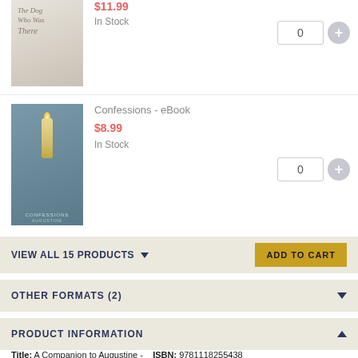[Figure (illustration): Book cover for 'The Dog Who Was There' - light foggy scene]
$11.99
In Stock
[Figure (illustration): Book cover for 'Confessions - eBook' by Augustine - blue-grey toned with candle illustration]
Confessions - eBook
$8.99
In Stock
VIEW ALL 15 PRODUCTS ▼
ADD TO CART
OTHER FORMATS (2)
PRODUCT INFORMATION
Title: A Companion to Augustine -    ISBN: 9781118255438